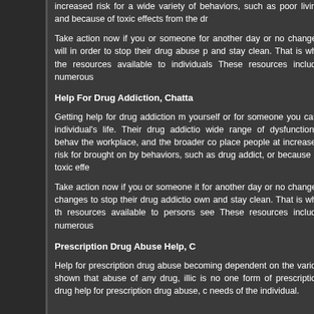increased risk for a wide variety of behaviors, such as poor living and because of toxic effects from the dr
Take action now if you or someone for another day or no changes will in order to stop their drug abuse p and stay clean. That is why the resources available to individuals These resources include numerous
Help For Drug Addiction, Chatta
Getting help for drug addiction m yourself or for someone you care individual's life. Their drug addictio wide range of dysfunctional behav the workplace, and the broader co place people at increased risk for brought on by behaviors, such as drug addict, or because of toxic effe
Take action now if you or someone it for another day or no changes changes to stop their drug addictio own and stay clean. That is why th resources available to persons see These resources include numerous
Prescription Drug Abuse Help, C
Help for prescription drug abuse becoming dependent on the variou shown that abuse of any drug, illic is no one form of prescription drug help for prescription drug abuse, c needs of the individual.